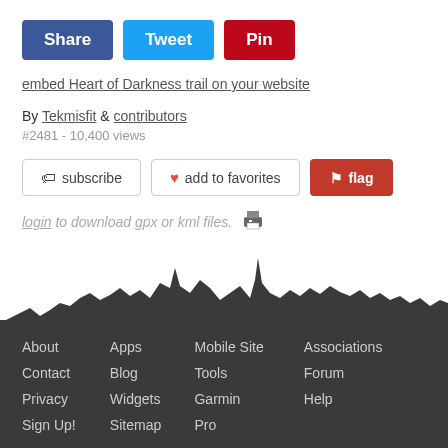Share | Tweet | Pin
embed Heart of Darkness trail on your website
By Tekmisfit & contributors
#2481 - 10,400 views
subscribe | add to favorites | flag
login to download gpx or kml files.
[Figure (illustration): Mountain silhouette graphic dividing the page content from the dark footer navigation area]
About  Apps  Mobile Site  Associations
Contact  Blog  Tools  Forum
Privacy  Widgets  Garmin  Help
Sign Up!  Sitemap  Pro